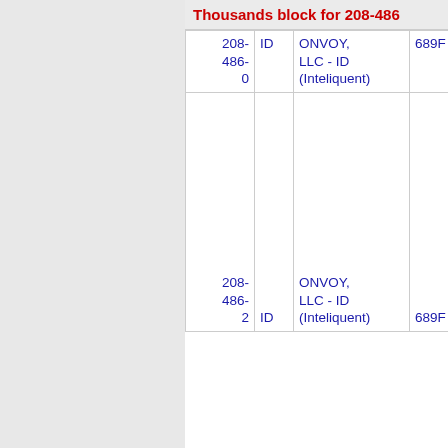Thousands block for 208-486
| Number | Type | Carrier | Rate | City |
| --- | --- | --- | --- | --- |
| 208-486-0 | ID | ONVOY, LLC - ID (Inteliquent) | 689F | PECK |
| 208-486-2 | ID | ONVOY, LLC - ID (Inteliquent) | 689F | PECK |